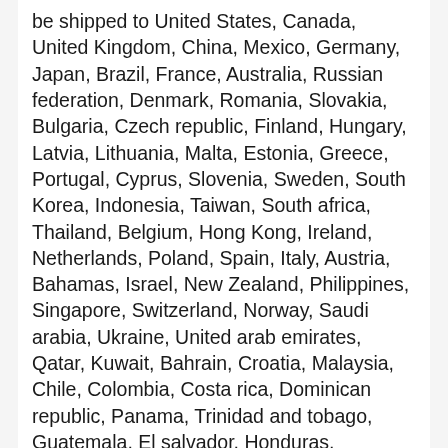be shipped to United States, Canada, United Kingdom, China, Mexico, Germany, Japan, Brazil, France, Australia, Russian federation, Denmark, Romania, Slovakia, Bulgaria, Czech republic, Finland, Hungary, Latvia, Lithuania, Malta, Estonia, Greece, Portugal, Cyprus, Slovenia, Sweden, South Korea, Indonesia, Taiwan, South africa, Thailand, Belgium, Hong Kong, Ireland, Netherlands, Poland, Spain, Italy, Austria, Bahamas, Israel, New Zealand, Philippines, Singapore, Switzerland, Norway, Saudi arabia, Ukraine, United arab emirates, Qatar, Kuwait, Bahrain, Croatia, Malaysia, Chile, Colombia, Costa rica, Dominican republic, Panama, Trinidad and tobago, Guatemala, El salvador, Honduras, Jamaica, Antigua and barbuda, Aruba, Belize, Dominica, Grenada, Saint kitts and nevis, Saint lucia, Montserrat, Turks and caicos islands, Barbados, Bangladesh, Bermuda, Brunei darussalam, Bolivia, Ecuador, Egypt, French guiana, Guernsey, Gibraltar, Guadeloupe, Iceland, Jersey, Jordan, Cambodia, Cayman islands, Liechtenstein, Sri lanka, Luxembourg, Monaco, Macao, Martinique, Maldives, Nicaragua, Oman, Peru, Pakistan, Paraguay, Reunion, ...